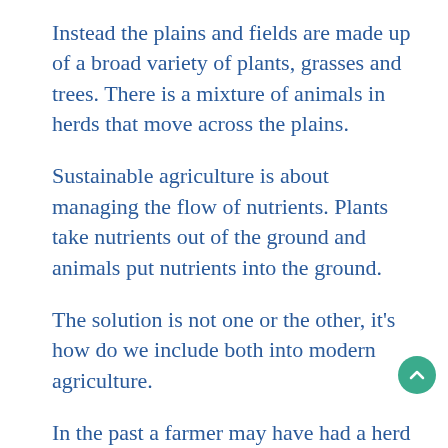Instead the plains and fields are made up of a broad variety of plants, grasses and trees. There is a mixture of animals in herds that move across the plains.
Sustainable agriculture is about managing the flow of nutrients. Plants take nutrients out of the ground and animals put nutrients into the ground.
The solution is not one or the other, it’s how do we include both into modern agriculture.
In the past a farmer may have had a herd of cows or a flock of sheep. They would also grow crops. Modern farmers have